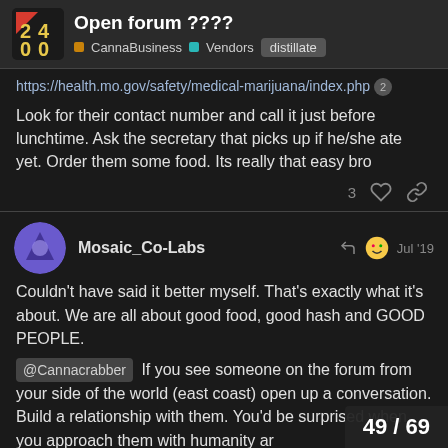Open forum ???? | CannaBusiness | Vendors | distillate
https://health.mo.gov/safety/medical-marijuana/index.php
Look for their contact number and call it just before lunchtime. Ask the secretary that picks up if he/she ate yet. Order them some food. Its really that easy bro
Mosaic_Co-Labs  Jul '19
Couldn't have said it better myself. That's exactly what it's about. We are all about good food, good hash and GOOD PEOPLE.
@Cannacrabber If you see someone on the forum from your side of the world (east coast) open up a conversation. Build a relationship with them. You'd be surprised when you approach them with humanity ar
49 / 69